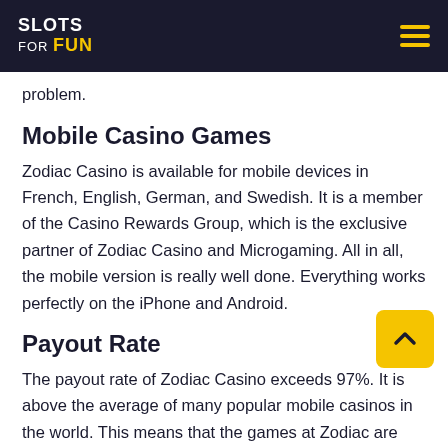SLOTS FOR FUN
problem.
Mobile Casino Games
Zodiac Casino is available for mobile devices in French, English, German, and Swedish. It is a member of the Casino Rewards Group, which is the exclusive partner of Zodiac Casino and Microgaming. All in all, the mobile version is really well done. Everything works perfectly on the iPhone and Android.
Payout Rate
The payout rate of Zodiac Casino exceeds 97%. It is above the average of many popular mobile casinos in the world. This means that the games at Zodiac are profitable, and the chances of winning great